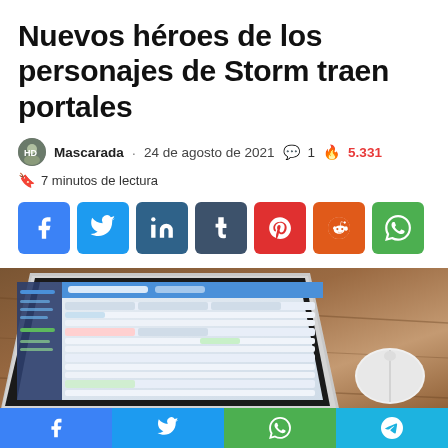Nuevos héroes de los personajes de Storm traen portales
Mascarada · 24 de agosto de 2021 💬 1 🔥 5.331
🔖 7 minutos de lectura
[Figure (other): Social share buttons: Facebook, Twitter, LinkedIn, Tumblr, Pinterest, Reddit, WhatsApp]
[Figure (photo): Laptop on wooden desk with a web application open on screen and a white Apple Magic Mouse to the right]
[Figure (other): Bottom share bar with Facebook, Twitter, WhatsApp, and Telegram icons]